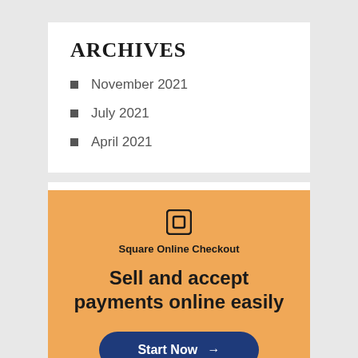ARCHIVES
November 2021
July 2021
April 2021
[Figure (infographic): Square Online Checkout advertisement banner with orange background, Square logo icon, heading 'Sell and accept payments online easily', and a dark blue 'Start Now →' button.]